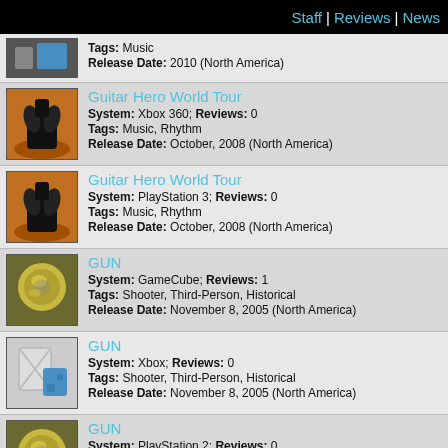Staff | Reviews | News
Tags: Music
Release Date: 2010 (North America)
Guitar Hero World Tour
System: Xbox 360; Reviews: 0
Tags: Music, Rhythm
Release Date: October, 2008 (North America)
Guitar Hero World Tour
System: PlayStation 3; Reviews: 0
Tags: Music, Rhythm
Release Date: October, 2008 (North America)
GUN
System: GameCube; Reviews: 1
Tags: Shooter, Third-Person, Historical
Release Date: November 8, 2005 (North America)
GUN
System: Xbox; Reviews: 0
Tags: Shooter, Third-Person, Historical
Release Date: November 8, 2005 (North America)
GUN
System: PlayStation 2; Reviews: 0
Tags: Shooter, Third-Person
Release Date: November 8, 2005 (North America)
GUN